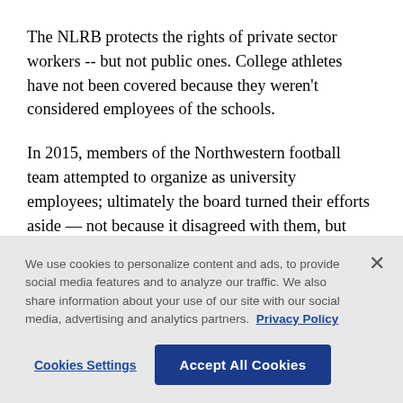The NLRB protects the rights of private sector workers -- but not public ones. College athletes have not been covered because they weren't considered employees of the schools.
In 2015, members of the Northwestern football team attempted to organize as university employees; ultimately the board turned their efforts aside — not because it disagreed with them, but because creating different rules for public schools and private ones “would not promote stability in labor relations.”
We use cookies to personalize content and ads, to provide social media features and to analyze our traffic. We also share information about your use of our site with our social media, advertising and analytics partners. Privacy Policy
Cookies Settings | Accept All Cookies